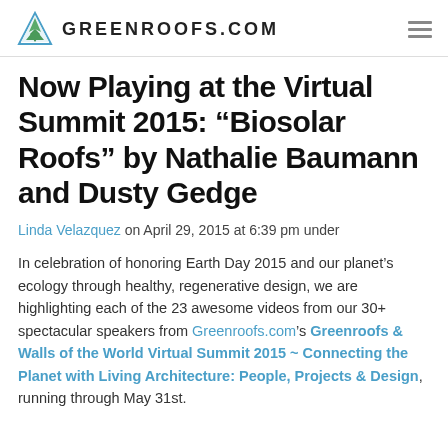GREENROOFS.COM
Now Playing at the Virtual Summit 2015: “Biosolar Roofs” by Nathalie Baumann and Dusty Gedge
Linda Velazquez on April 29, 2015 at 6:39 pm under
In celebration of honoring Earth Day 2015 and our planet’s ecology through healthy, regenerative design, we are highlighting each of the 23 awesome videos from our 30+ spectacular speakers from Greenroofs.com’s Greenroofs & Walls of the World Virtual Summit 2015 ~ Connecting the Planet with Living Architecture: People, Projects & Design, running through May 31st.